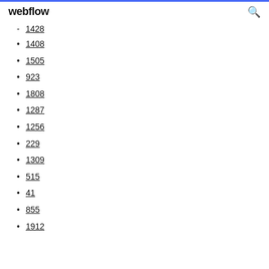webflow
1428
1408
1505
923
1808
1287
1256
229
1309
515
41
855
1912